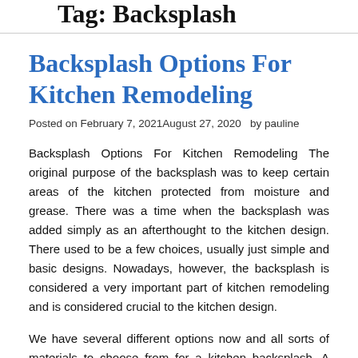Tag: Backsplash
Backsplash Options For Kitchen Remodeling
Posted on February 7, 2021August 27, 2020   by pauline
Backsplash Options For Kitchen Remodeling The original purpose of the backsplash was to keep certain areas of the kitchen protected from moisture and grease. There was a time when the backsplash was added simply as an afterthought to the kitchen design. There used to be a few choices, usually just simple and basic designs. Nowadays, however, the backsplash is considered a very important part of kitchen remodeling and is considered crucial to the kitchen design.
We have several different options now and all sorts of materials to choose from for a kitchen backsplash. A good kitchen remodeler is more than capable of bringing